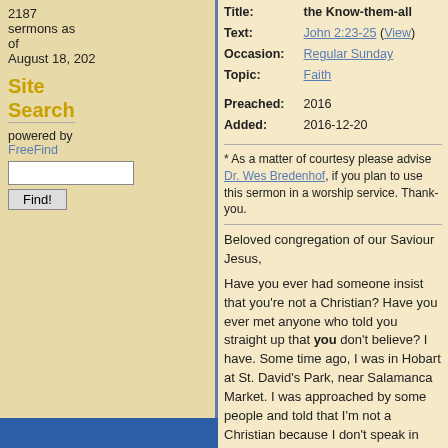2187 sermons as of August 18, 202
Site Search
powered by FreeFind
Title: the Know-them-all
Text: John 2:23-25 (View)
Occasion: Regular Sunday
Topic: Faith
Preached: 2016
Added: 2016-12-20
Scripture reading: 2 Samuel 12:1-15a
Text: John 2:23-25
* As a matter of courtesy please advise Dr. Wes Bredenhof, if you plan to use this sermon in a worship service.   Thank-you.
Beloved congregation of our Saviour Jesus,
Have you ever had someone insist that you're not a Christian?  Have you ever met anyone who told you straight up that you don't believe?  I have.  Some time ago, I was in Hobart at St. David's Park, near Salamanca Market.  I was approached by some people and told that I'm not a Christian because I don't speak in tongues.  In the other situation, some guy was sending me e-mails